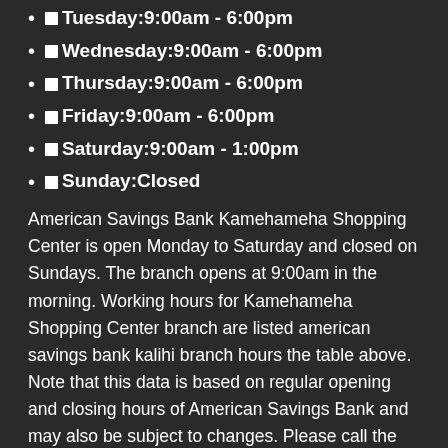Tuesday:9:00am - 6:00pm
Wednesday:9:00am - 6:00pm
Thursday:9:00am - 6:00pm
Friday:9:00am - 6:00pm
Saturday:9:00am - 1:00pm
Sunday:Closed
American Savings Bank Kamehameha Shopping Center is open Monday to Saturday and closed on Sundays. The branch opens at 9:00am in the morning. Working hours for Kamehameha Shopping Center branch are listed american savings bank kalihi branch hours the table above. Note that this data is based on regular opening and closing hours of American Savings Bank and may also be subject to changes. Please call the branch at 808-832-4580 to verify hours umpqua bank routing number idaho visiting.